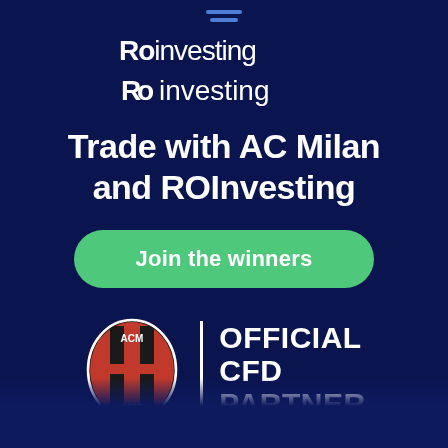[Figure (logo): ROinvesting logo in white text]
Trade with AC Milan and ROInvesting
Join the winners
[Figure (logo): AC Milan crest badge with OFFICIAL CFD PARTNER text]